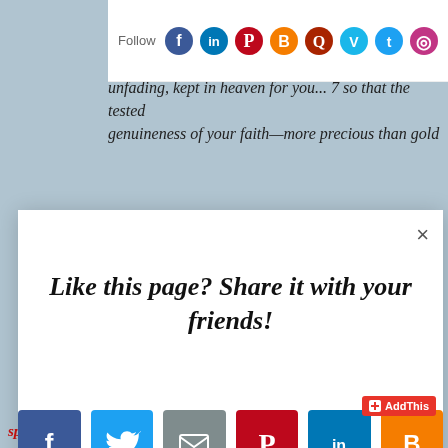to be born... resurrection... inheritance that is imperishable, undefiled, and unfading, kept in heaven for you... 7 so that the tested genuineness of your faith—more precious than gold
[Figure (screenshot): Social media follow bar with Follow label and icons for Facebook, LinkedIn, Pinterest, Blogger, Quora, Vimeo, Twitter, Instagram]
[Figure (infographic): Modal dialog with share prompt 'Like this page? Share it with your friends!' and social share buttons: Facebook (blue), Twitter (light blue), Email (gray), Pinterest (red), LinkedIn (blue), Blogger (orange), and a plus button (coral/salmon)]
spiritual blessings in Him, and of course, that includes eternal